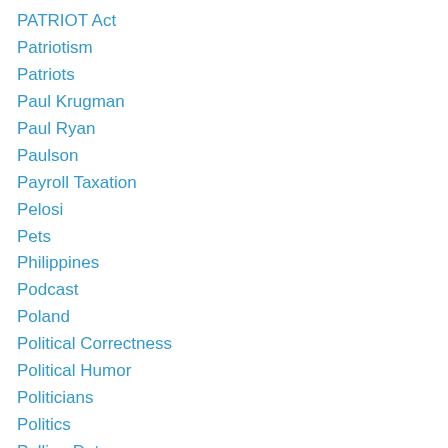PATRIOT Act
Patriotism
Patriots
Paul Krugman
Paul Ryan
Paulson
Payroll Taxation
Pelosi
Pets
Philippines
Podcast
Poland
Political Correctness
Political Humor
Politicians
Politics
Polling Data
Pope Francis
Portugal
Postal Service